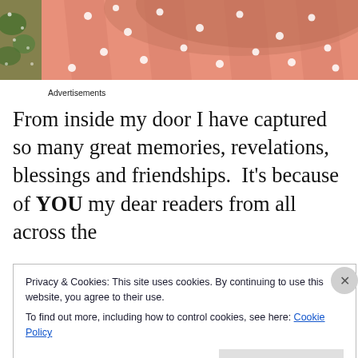[Figure (photo): Close-up photo of a pink/coral polka-dot dress or fabric with white dots, with a green leafy plant visible on the left edge.]
Advertisements
From inside my door I have captured so many great memories, revelations, blessings and friendships.  It's because of YOU my dear readers from all across the
Privacy & Cookies: This site uses cookies. By continuing to use this website, you agree to their use.
To find out more, including how to control cookies, see here: Cookie Policy
Close and accept